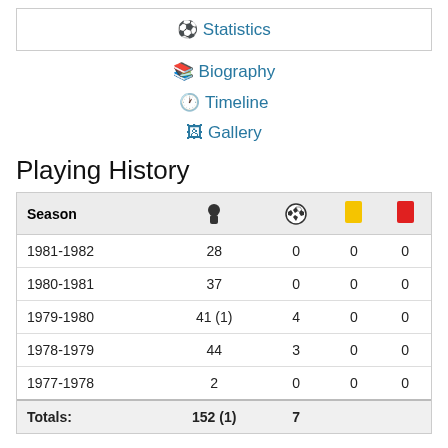⚽ Statistics
📖 Biography
🕐 Timeline
🖼 Gallery
Playing History
| Season | 👤 | ⚽ | 🟨 | 🟥 |
| --- | --- | --- | --- | --- |
| 1981-1982 | 28 | 0 | 0 | 0 |
| 1980-1981 | 37 | 0 | 0 | 0 |
| 1979-1980 | 41 (1) | 4 | 0 | 0 |
| 1978-1979 | 44 | 3 | 0 | 0 |
| 1977-1978 | 2 | 0 | 0 | 0 |
| Totals: | 152 (1) | 7 |  |  |